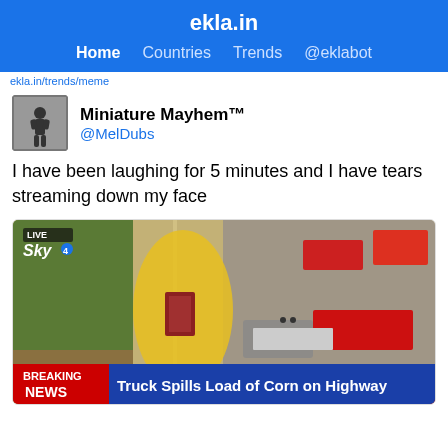ekla.in
Home  Countries  Trends  @eklabot
(partial link, clipped)
Miniature Mayhem™
@MelDubs
I have been laughing for 5 minutes and I have tears streaming down my face
[Figure (screenshot): Aerial news footage from Sky4 LIVE showing a highway with a large corn spill. A truck trailer is visible on the road, surrounded by emergency vehicles. Breaking news banner reads: 'Truck Spills Load of Corn on Highway']